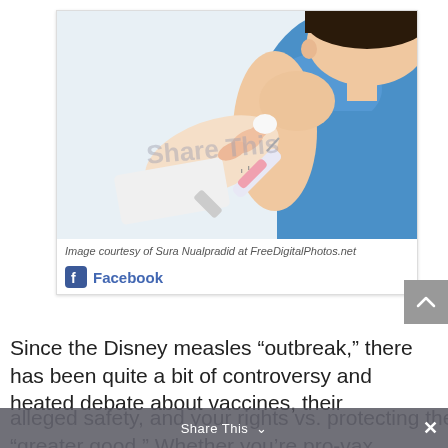[Figure (photo): A child receiving a vaccine injection in the upper arm from a healthcare provider wearing a white coat. The child is wearing a blue shirt and looking down at the injection site.]
Image courtesy of Sura Nualpradid at FreeDigitalPhotos.net
Facebook
Since the Disney measles “outbreak,” there has been quite a bit of controversy and heated debate about vaccines, their alleged safety, and your rights vs. protecting the “greater good.” Whether you’re pro-vax,